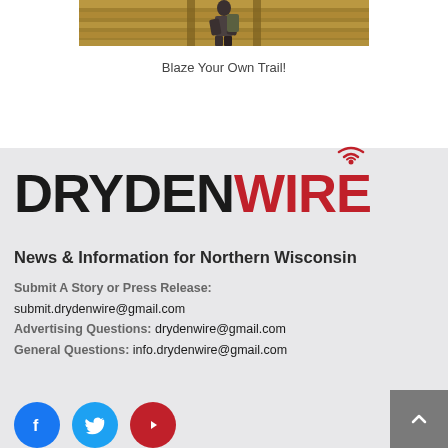[Figure (photo): Partial photo of a person hiking on a wooden trail or boardwalk, cropped at the top of the page]
Blaze Your Own Trail!
[Figure (logo): DrydenWire logo: DRYDEN in black bold uppercase and WIRE in red bold uppercase with a wifi signal icon above the 'i' in WIRE]
News & Information for Northern Wisconsin
Submit A Story or Press Release: submit.drydenwire@gmail.com
Advertising Questions: drydenwire@gmail.com
General Questions: info.drydenwire@gmail.com
[Figure (illustration): Three social media icons at the bottom: Facebook (blue circle with f), Twitter (light blue circle with bird), YouTube (red circle with play button)]